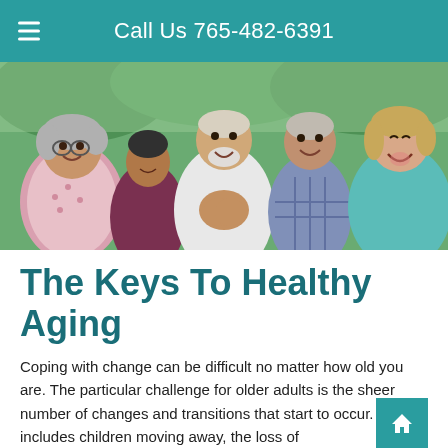Call Us 765-482-6391
[Figure (photo): Four older adults laughing and smiling together outdoors in a park setting. From left: an Asian woman with glasses in a floral top, a man in a dark shirt, a tall man in a white button-up shirt clasping his hands, a man in a plaid shirt, and a woman in a teal sleeveless top.]
The Keys To Healthy Aging
Coping with change can be difficult no matter how old you are. The particular challenge for older adults is the sheer number of changes and transitions that start to occur. This includes children moving away, the loss of